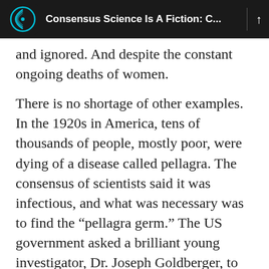Consensus Science Is A Fiction: C...
and ignored. And despite the constant ongoing deaths of women.
There is no shortage of other examples. In the 1920s in America, tens of thousands of people, mostly poor, were dying of a disease called pellagra. The consensus of scientists said it was infectious, and what was necessary was to find the “pellagra germ.” The US government asked a brilliant young investigator, Dr. Joseph Goldberger, to find the cause. Goldberger concluded that diet was